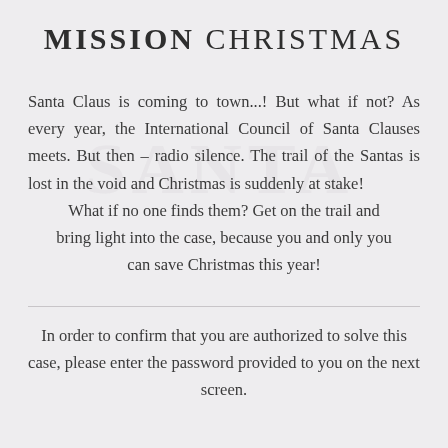MISSION CHRISTMAS
Santa Claus is coming to town...! But what if not? As every year, the International Council of Santa Clauses meets. But then – radio silence. The trail of the Santas is lost in the void and Christmas is suddenly at stake! What if no one finds them? Get on the trail and bring light into the case, because you and only you can save Christmas this year!
In order to confirm that you are authorized to solve this case, please enter the password provided to you on the next screen.